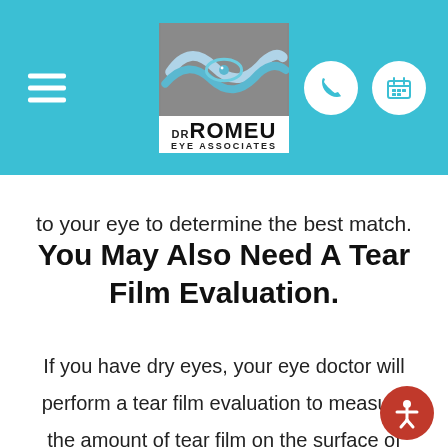DR ROMEU EYE ASSOCIATES
to your eye to determine the best match.
You May Also Need A Tear Film Evaluation.
If you have dry eyes, your eye doctor will perform a tear film evaluation to measure the amount of tear film on the surface of your eye. If your tear film is insufficient or you have chronic dry eyes, contact lenses may not be a good option for you. However, some newe